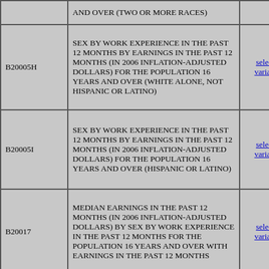| Code | Description | Link |
| --- | --- | --- |
|  | AND OVER (TWO OR MORE RACES) |  |
| B20005H | SEX BY WORK EXPERIENCE IN THE PAST 12 MONTHS BY EARNINGS IN THE PAST 12 MONTHS (IN 2006 INFLATION-ADJUSTED DOLLARS) FOR THE POPULATION 16 YEARS AND OVER (WHITE ALONE, NOT HISPANIC OR LATINO) | selected variables |
| B20005I | SEX BY WORK EXPERIENCE IN THE PAST 12 MONTHS BY EARNINGS IN THE PAST 12 MONTHS (IN 2006 INFLATION-ADJUSTED DOLLARS) FOR THE POPULATION 16 YEARS AND OVER (HISPANIC OR LATINO) | selected variables |
| B20017 | MEDIAN EARNINGS IN THE PAST 12 MONTHS (IN 2006 INFLATION-ADJUSTED DOLLARS) BY SEX BY WORK EXPERIENCE IN THE PAST 12 MONTHS FOR THE POPULATION 16 YEARS AND OVER WITH EARNINGS IN THE PAST 12 MONTHS | selected variables |
|  | MEDIAN EARNINGS IN THE PAST 12 |  |